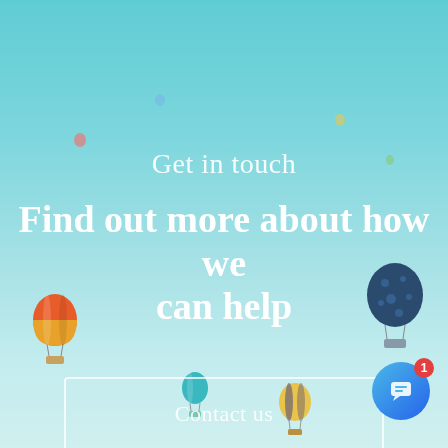[Figure (photo): Sky background with multiple colorful hot air balloons floating at various positions and distances]
Get in touch
Find out more about how we can help
Contact us